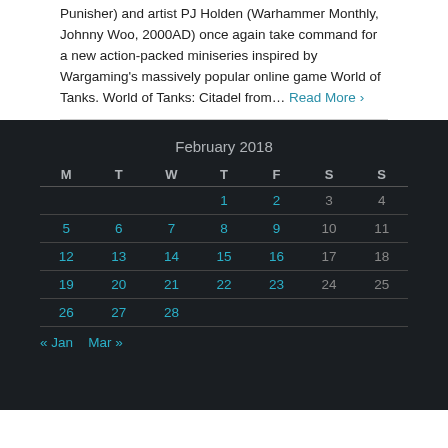Punisher) and artist PJ Holden (Warhammer Monthly, Johnny Woo, 2000AD) once again take command for a new action-packed miniseries inspired by Wargaming's massively popular online game World of Tanks. World of Tanks: Citadel from… Read More ›
| M | T | W | T | F | S | S |
| --- | --- | --- | --- | --- | --- | --- |
|  |  |  | 1 | 2 | 3 | 4 |
| 5 | 6 | 7 | 8 | 9 | 10 | 11 |
| 12 | 13 | 14 | 15 | 16 | 17 | 18 |
| 19 | 20 | 21 | 22 | 23 | 24 | 25 |
| 26 | 27 | 28 |  |  |  |  |
« Jan   Mar »